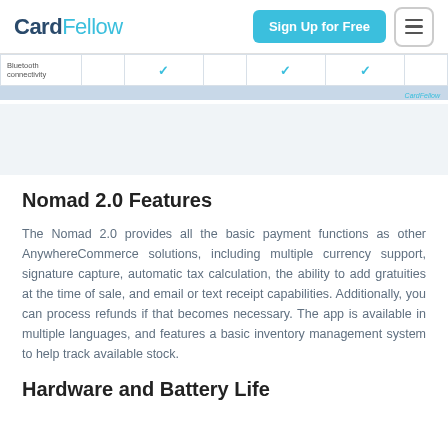CardFellow | Sign Up for Free
|  |  |  |  |  |  |  |
| --- | --- | --- | --- | --- | --- | --- |
| Bluetooth
connectivity |  | ✓ |  | ✓ | ✓ |  |
Nomad 2.0 Features
The Nomad 2.0 provides all the basic payment functions as other AnywhereCommerce solutions, including multiple currency support, signature capture, automatic tax calculation, the ability to add gratuities at the time of sale, and email or text receipt capabilities. Additionally, you can process refunds if that becomes necessary. The app is available in multiple languages, and features a basic inventory management system to help track available stock.
Hardware and Battery Life